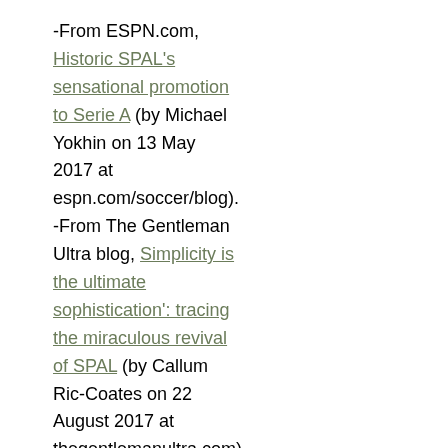-From ESPN.com, Historic SPAL's sensational promotion to Serie A (by Michael Yokhin on 13 May 2017 at espn.com/soccer/blog). -From The Gentleman Ultra blog, Simplicity is the ultimate sophistication': tracing the miraculous revival of SPAL (by Callum Ric-Coates on 22 August 2017 at thegentlemanultra.com). SPAL are from Ferrara,